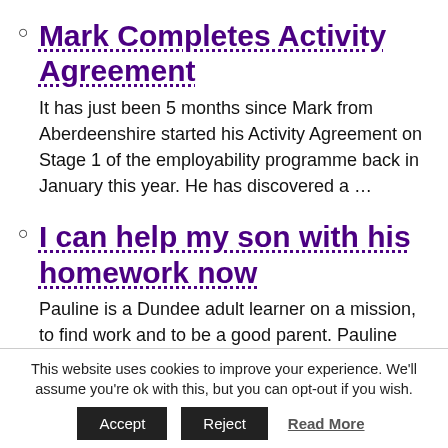Mark Completes Activity Agreement
It has just been 5 months since Mark from Aberdeenshire started his Activity Agreement on Stage 1 of the employability programme back in January this year. He has discovered a …
I can help my son with his homework now
Pauline is a Dundee adult learner on a mission, to find work and to be a good parent.  Pauline experienced a period of anxiety and depression
This website uses cookies to improve your experience. We'll assume you're ok with this, but you can opt-out if you wish.